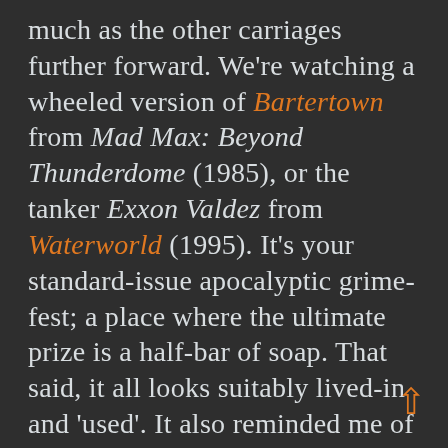much as the other carriages further forward. We're watching a wheeled version of Bartertown from Mad Max: Beyond Thunderdome (1985), or the tanker Exxon Valdez from Waterworld (1995). It's your standard-issue apocalyptic grime-fest; a place where the ultimate prize is a half-bar of soap. That said, it all looks suitably lived-in and 'used'. It also reminded me of